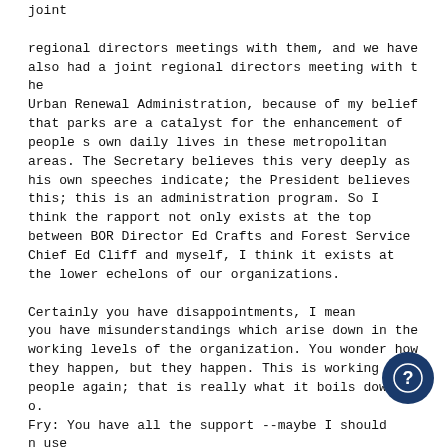joint

regional directors meetings with them, and we have also had a joint regional directors meeting with t he
Urban Renewal Administration, because of my belief that parks are a catalyst for the enhancement of people s own daily lives in these metropolitan areas. The Secretary believes this very deeply as his own speeches indicate; the President believes this; this is an administration program. So I think the rapport not only exists at the top between BOR Director Ed Crafts and Forest Service Chief Ed Cliff and myself, I think it exists at the lower echelons of our organizations.

Certainly you have disappointments, I mean you have misunderstandings which arise down in the working levels of the organization. You wonder how they happen, but they happen. This is working with people again; that is really what it boils down t o.
Fry: You have all the support --maybe I shouldn use
the word "pressure" that you need from the top